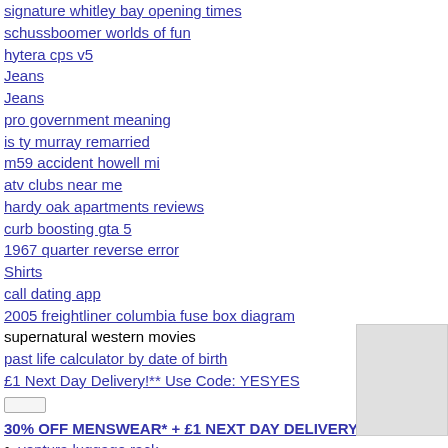signature whitley bay opening times
schussboomer worlds of fun
hytera cps v5
Jeans
Jeans
pro government meaning
is ty murray remarried
m59 accident howell mi
atv clubs near me
hardy oak apartments reviews
curb boosting gta 5
1967 quarter reverse error
Shirts
call dating app
2005 freightliner columbia fuse box diagram
supernatural western movies
past life calculator by date of birth
£1 Next Day Delivery!** Use Code: YESYES
30% OFF MENSWEAR* + £1 NEXT DAY DELIVERY!**
ventura luggage rack
billy graham library events
cash jobs san jose
3d dorm room planner
dalton gordon
5424 chits pill